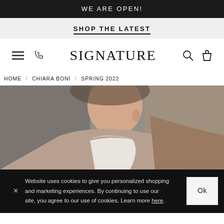WE ARE OPEN!
SHOP THE LATEST
[Figure (screenshot): Navigation bar with hamburger menu, phone icon, SIGNATURE brand logo, search icon, and bag icon]
HOME / CHIARA BONI / SPRING 2022
[Figure (photo): Close-up photo of a model wearing a white and tan/brown outfit against a gray background, showing neck and shoulder area]
Website uses cookies to give you personalized shopping and marketing experiences. By continuing to use our site, you agree to our use of cookies. Learn more here.